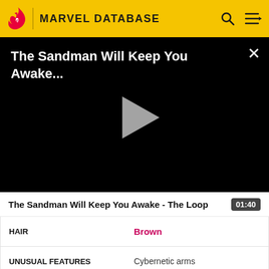MARVEL DATABASE
[Figure (screenshot): Black video player with title 'The Sandman Will Keep You Awake...' and a triangular play button in the center, with a close X button top right]
The Sandman Will Keep You Awake - The Loop  01:40
| HAIR | Brown |
| UNUSUAL FEATURES | Cybernetic arms |